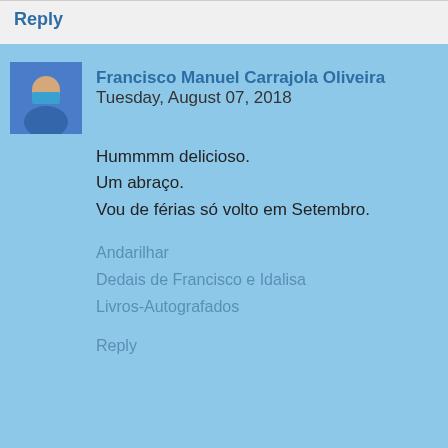Reply
Francisco Manuel Carrajola Oliveira  Tuesday, August 07, 2018
Hummmm delicioso.
Um abraço.
Vou de férias só volto em Setembro.
Andarilhar
Dedais de Francisco e Idalisa
Livros-Autografados
Reply